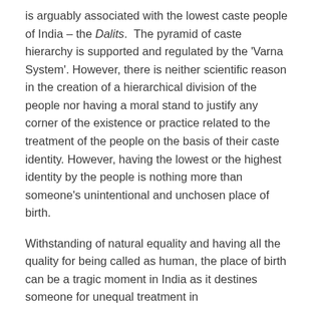is arguably associated with the lowest caste people of India – the Dalits. The pyramid of caste hierarchy is supported and regulated by the 'Varna System'. However, there is neither scientific reason in the creation of a hierarchical division of the people nor having a moral stand to justify any corner of the existence or practice related to the treatment of the people on the basis of their caste identity. However, having the lowest or the highest identity by the people is nothing more than someone's unintentional and unchosen place of birth.
Withstanding of natural equality and having all the quality for being called as human, the place of birth can be a tragic moment in India as it destines someone for unequal treatment in